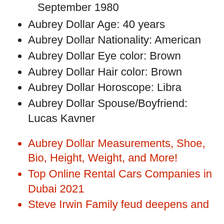Aubrey Dollar Date of Birth: 23 September 1980
Aubrey Dollar Age: 40 years
Aubrey Dollar Nationality: American
Aubrey Dollar Eye color: Brown
Aubrey Dollar Hair color: Brown
Aubrey Dollar Horoscope: Libra
Aubrey Dollar Spouse/Boyfriend: Lucas Kavner
Aubrey Dollar Measurements, Shoe, Bio, Height, Weight, and More!
Top Online Rental Cars Companies in Dubai 2021
Steve Irwin Family feud deepens and